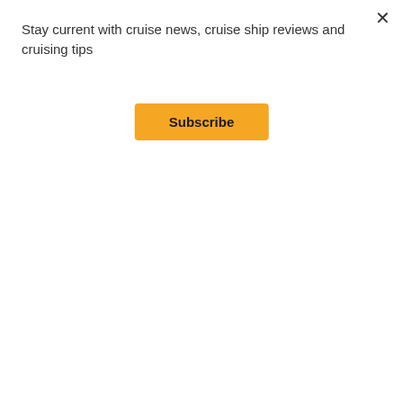Stay current with cruise news, cruise ship reviews and cruising tips
Subscribe
[Figure (photo): Three-panel composite image showing restaurant interiors on a cruise ship: left panel shows a dining area with wicker chairs and circular tables with blue centerpieces; center panel shows booth seating with pendant lights; right panel shows a wine cellar wall display.]
Other bucket-list worthy destinations include a call to Geiranger, Norway, featuring 14 hours in port where guests can visit Norway's most famous fjord, Geiranger Fjord, an awe-inspiring deep blue UNESCO protected nine-mile fjord